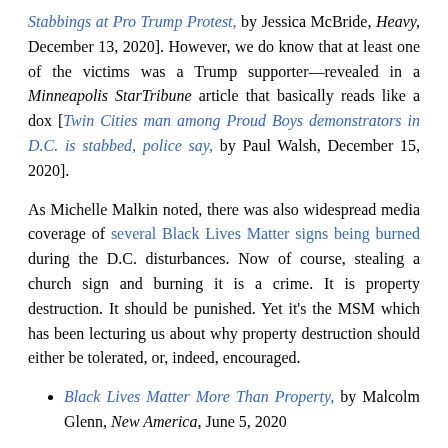Stabbings at Pro Trump Protest, by Jessica McBride, Heavy, December 13, 2020]. However, we do know that at least one of the victims was a Trump supporter—revealed in a Minneapolis StarTribune article that basically reads like a dox [Twin Cities man among Proud Boys demonstrators in D.C. is stabbed, police say, by Paul Walsh, December 15, 2020].
As Michelle Malkin noted, there was also widespread media coverage of several Black Lives Matter signs being burned during the D.C. disturbances. Now of course, stealing a church sign and burning it is a crime. It is property destruction. It should be punished. Yet it's the MSM which has been lecturing us about why property destruction should either be tolerated, or, indeed, encouraged.
Black Lives Matter More Than Property, by Malcolm Glenn, New America, June 5, 2020